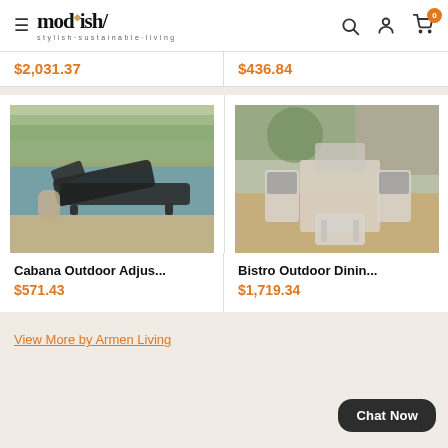mod·ish/ stylish·sustainable·living — navigation header with search, account, cart icons
$2,031.37
$436.84
[Figure (photo): Outdoor lounge/chaise chair by a swimming pool, dark wicker/rattan construction, in a garden setting]
[Figure (photo): Bistro outdoor dining set with square table and four chairs on a wood deck, gray metal frame with white cushions]
Cabana Outdoor Adjus...
$571.43
Bistro Outdoor Dinin...
$1,719.34
View More by Armen Living